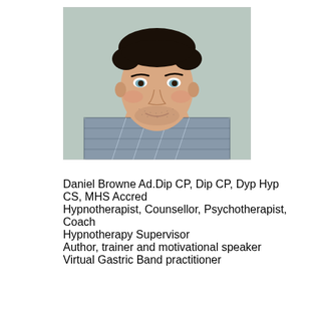[Figure (photo): Headshot photo of a man with short dark hair, light blue eyes, wearing a plaid shirt, against a light grey-green background.]
Daniel Browne Ad.Dip CP, Dip CP, Dyp Hyp CS, MHS Accred
Hypnotherapist, Counsellor, Psychotherapist, Coach
Hypnotherapy Supervisor
Author, trainer and motivational speaker
Virtual Gastric Band practitioner